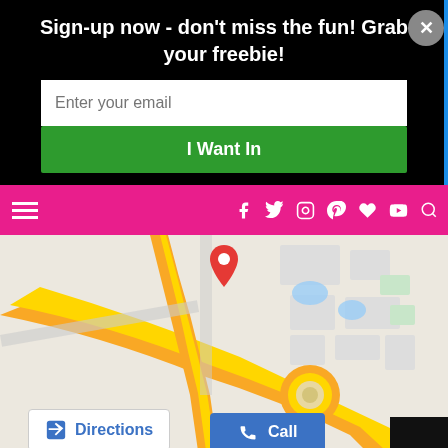Sign-up now - don't miss the fun! Grab your freebie!
[Figure (screenshot): Email signup form with input field and green 'I Want In' button on black background, with close X button]
[Figure (screenshot): Pink navigation bar with hamburger menu on left and social icons (Facebook, Twitter, Instagram, Pinterest, Heart, YouTube, Search) on right]
[Figure (map): Google Maps view showing road intersection with Directions and Call buttons at bottom]
[Figure (screenshot): Social sharing bar at bottom with Shares label and icons for Facebook, Twitter, Google+, Pinterest, Email, Crown]